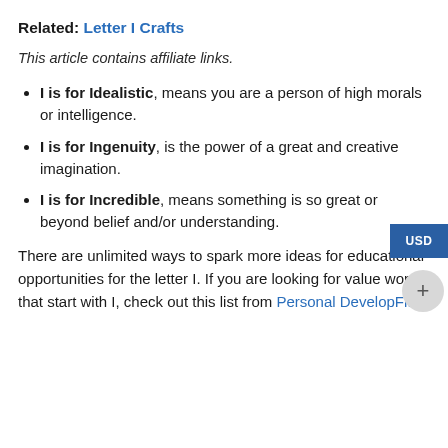Related: Letter I Crafts
This article contains affiliate links.
I is for Idealistic, means you are a person of high morals or intelligence.
I is for Ingenuity, is the power of a great and creative imagination.
I is for Incredible, means something is so great or beyond belief and/or understanding.
There are unlimited ways to spark more ideas for educational opportunities for the letter I. If you are looking for value words that start with I, check out this list from Personal DevelopFit.